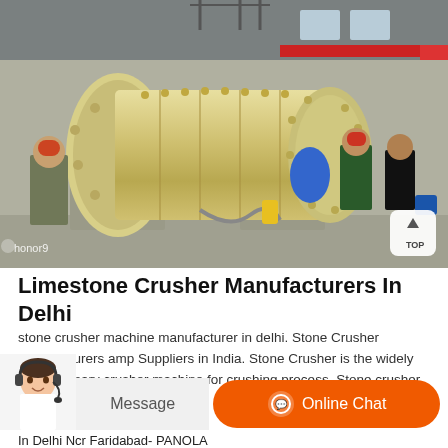[Figure (photo): Industrial ball mill machine (large cylindrical yellow/cream colored grinding mill) inside a factory/warehouse with workers nearby and a red overhead crane visible. Watermark reads 'honor9'.]
Limestone Crusher Manufacturers In Delhi
stone crusher machine manufacturer in delhi. Stone Crusher Manufacturers amp Suppliers in India. Stone Crusher is the widely ed as primary crusher machine for crushing process. Stone crusher
In Delhi Ncr Faridabad- PANOLA